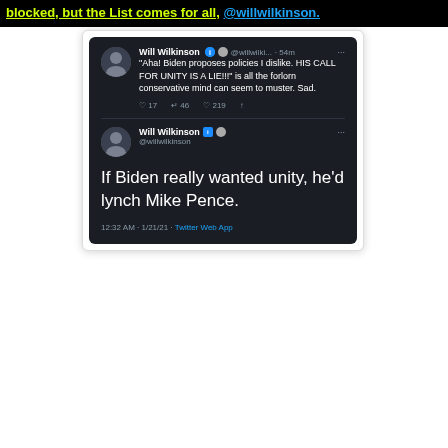blocked, but the List comes for all, @willwilkinson.
[Figure (screenshot): Screenshot of a Twitter/X exchange by Will Wilkinson (@willwilki... / @willwilkinson). First tweet: '"Aha! Biden proposes policies I dislike. HIS CALL FOR UNITY IS A LIE!!!" is all the forlorn conservative mind can seem to muster. Sad.' with 17 replies, 46 retweets, 219 likes. Second tweet (large text): 'If Biden really wanted unity, he'd lynch Mike Pence.' timestamped 12:32 AM · 1/21/21 · Twitter Web App.]